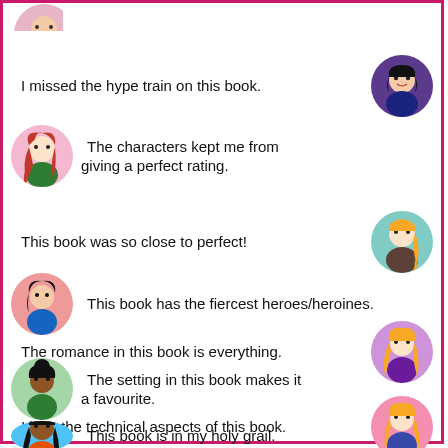I missed the hype train on this book.
The characters kept me from giving a perfect rating.
This book was so close to perfect!
This book has the fiercest heroes/heroines.
The romance in this book is everything.
The setting in this book makes it a favourite.
I love the technical aspects of this book.
This book is in my holy grail.